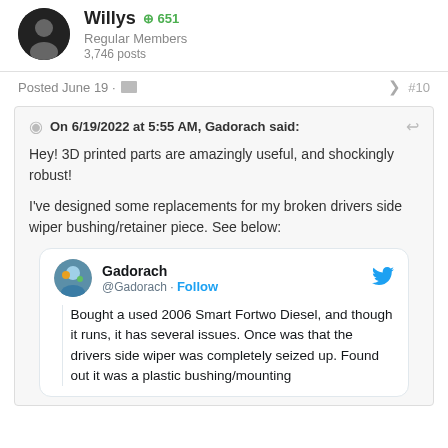Willys ⊕651
Regular Members
3,746 posts
Posted June 19 · #10
On 6/19/2022 at 5:55 AM, Gadorach said:
Hey! 3D printed parts are amazingly useful, and shockingly robust!

I've designed some replacements for my broken drivers side wiper bushing/retainer piece. See below:
Gadorach @Gadorach · Follow
Bought a used 2006 Smart Fortwo Diesel, and though it runs, it has several issues. Once was that the drivers side wiper was completely seized up. Found out it was a plastic bushing/mounting